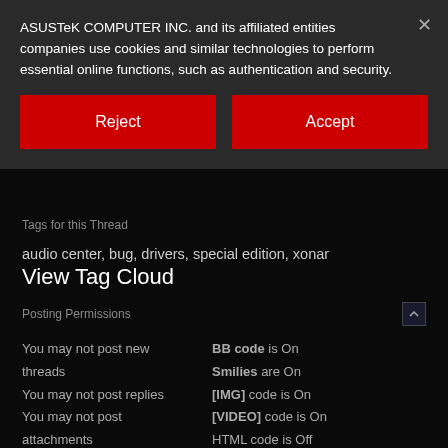ASUSTeK COMPUTER INC. and its affiliated entities companies use cookies and similar technologies to perform essential online functions, such as authentication and security.
×
Reject
Accept
Tags for this Thread
audio center, bug, drivers, special edition, xonar
View Tag Cloud
Posting Permissions
You may not post new threads
BB code is On
Smilies are On
You may not post replies
[IMG] code is On
You may not post attachments
[VIDEO] code is On
You may not edit your posts
HTML code is Off
Forum